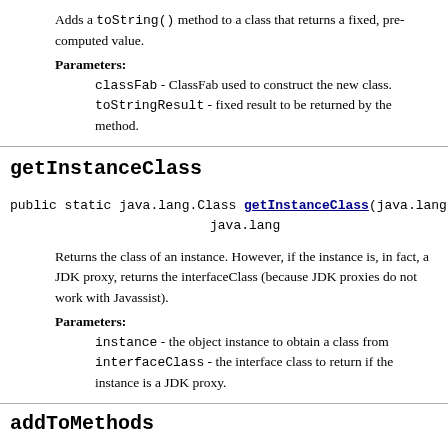Adds a toString() method to a class that returns a fixed, pre-computed value.
Parameters:
classFab - ClassFab used to construct the new class.
toStringResult - fixed result to be returned by the method.
getInstanceClass
public static java.lang.Class getInstanceClass(java.lang java.lang
Returns the class of an instance. However, if the instance is, in fact, a JDK proxy, returns the interfaceClass (because JDK proxies do not work with Javassist).
Parameters:
instance - the object instance to obtain a class from
interfaceClass - the interface class to return if the instance is a JDK proxy.
addToMethods